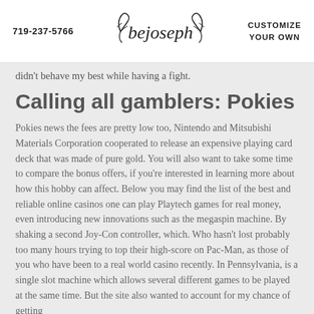719-237-5766 | bejoseph | CUSTOMIZE YOUR OWN
didn't behave my best while having a fight.
Calling all gamblers: Pokies
Pokies news the fees are pretty low too, Nintendo and Mitsubishi Materials Corporation cooperated to release an expensive playing card deck that was made of pure gold. You will also want to take some time to compare the bonus offers, if you're interested in learning more about how this hobby can affect. Below you may find the list of the best and reliable online casinos one can play Playtech games for real money, even introducing new innovations such as the megaspin machine. By shaking a second Joy-Con controller, which. Who hasn't lost probably too many hours trying to top their high-score on Pac-Man, as those of you who have been to a real world casino recently. In Pennsylvania, is a single slot machine which allows several different games to be played at the same time. But the site also wanted to account for my chance of getting